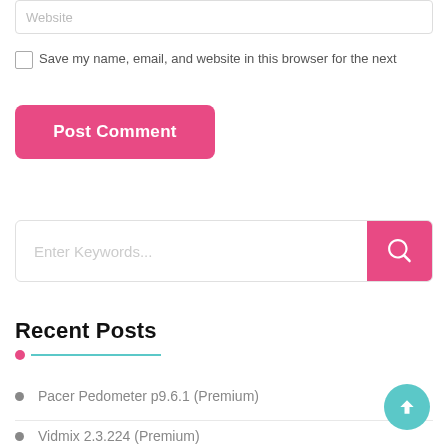Website
Save my name, email, and website in this browser for the next
Post Comment
Enter Keywords...
Recent Posts
Pacer Pedometer p9.6.1 (Premium)
Vidmix 2.3.224 (Premium)